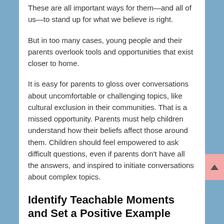These are all important ways for them—and all of us—to stand up for what we believe is right.
But in too many cases, young people and their parents overlook tools and opportunities that exist closer to home.
It is easy for parents to gloss over conversations about uncomfortable or challenging topics, like cultural exclusion in their communities. That is a missed opportunity. Parents must help children understand how their beliefs affect those around them. Children should feel empowered to ask difficult questions, even if parents don't have all the answers, and inspired to initiate conversations about complex topics.
Identify Teachable Moments and Set a Positive Example
These tough conversations require all of us to be brave and to identify, when possible, teachable moments to help set a positive example. The goal is to teach children how